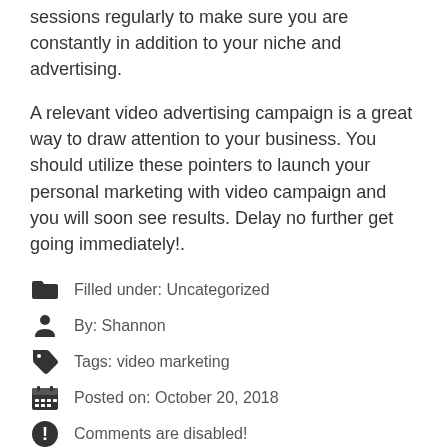sessions regularly to make sure you are constantly in addition to your niche and advertising.
A relevant video advertising campaign is a great way to draw attention to your business. You should utilize these pointers to launch your personal marketing with video campaign and you will soon see results. Delay no further get going immediately!.
Filled under: Uncategorized
By: Shannon
Tags: video marketing
Posted on: October 20, 2018
Comments are disabled!
Ten Down sides of Seo wellington and the way You are able to Workaround It.
How SEO Will Help You Be Described As A Success